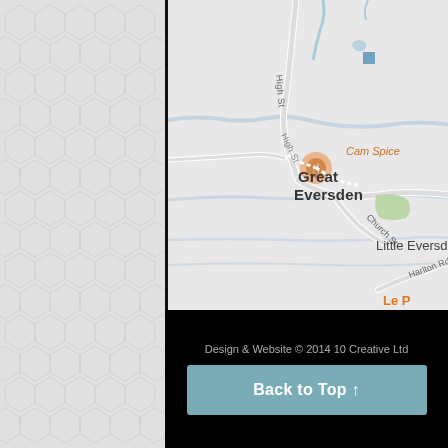[Figure (map): Google Maps screenshot showing Great Eversden and Little Eversden area. Roads include High St, Church St, Harlton Rd. A location pin marker is visible on Great Eversden. 'Cam Spice' restaurant label visible.]
Design & Website © 2014 10 Creative Ltd
Back to Top ↑